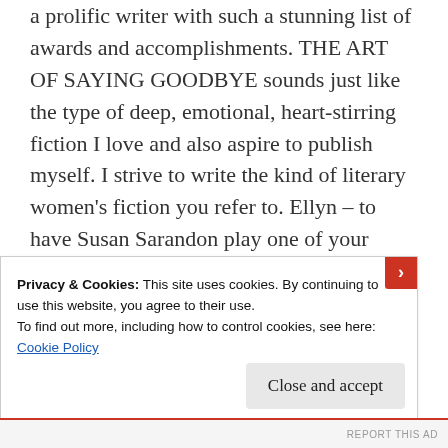a prolific writer with such a stunning list of awards and accomplishments. THE ART OF SAYING GOODBYE sounds just like the type of deep, emotional, heart-stirring fiction I love and also aspire to publish myself. I strive to write the kind of literary women's fiction you refer to. Ellyn – to have Susan Sarandon play one of your characters must have been thrilling; she's one of the best actresses in Hollywood (in my opinion). But then winning the Willa Cather Fiction Prize
Privacy & Cookies: This site uses cookies. By continuing to use this website, you agree to their use.
To find out more, including how to control cookies, see here:
Cookie Policy